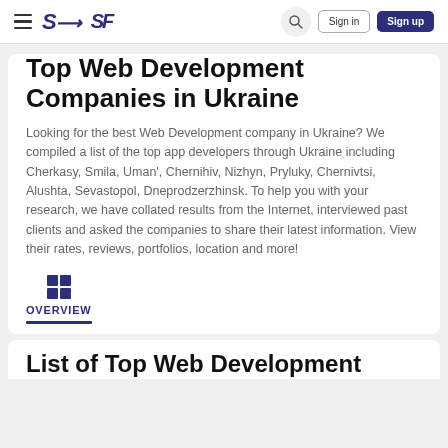SF | Sign in | Sign up
Top Web Development Companies in Ukraine
Looking for the best Web Development company in Ukraine? We compiled a list of the top app developers through Ukraine including Cherkasy, Smila, Uman', Chernihiv, Nizhyn, Pryluky, Chernivtsi, Alushta, Sevastopol, Dneprodzerzhinsk. To help you with your research, we have collated results from the Internet, interviewed past clients and asked the companies to share their latest information. View their rates, reviews, portfolios, location and more!
OVERVIEW
List of Top Web Development